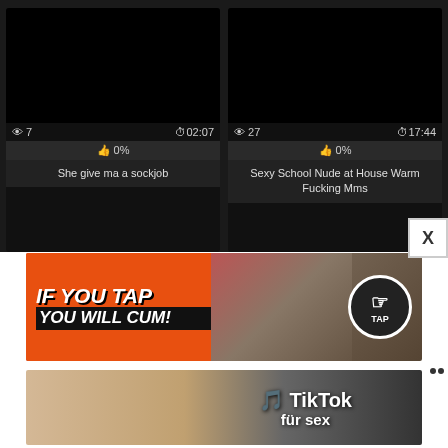[Figure (screenshot): Video thumbnail 1 - black screen with view count 7, duration 02:07, 0% likes, title: She give ma a sockjob]
[Figure (screenshot): Video thumbnail 2 - black screen with view count 27, duration 17:44, 0% likes, title: Sexy School Nude at House Warm Fucking Mms]
[Figure (illustration): Adult game advertisement banner with text IF YOU TAP YOU WILL CUM and a TAP button circle icon]
[Figure (photo): TikTok für sex advertisement banner with two women photos]